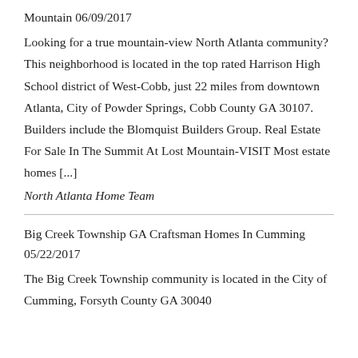Mountain 06/09/2017
Looking for a true mountain-view North Atlanta community? This neighborhood is located in the top rated Harrison High School district of West-Cobb, just 22 miles from downtown Atlanta, City of Powder Springs, Cobb County GA 30107. Builders include the Blomquist Builders Group. Real Estate For Sale In The Summit At Lost Mountain-VISIT Most estate homes [...]
North Atlanta Home Team
Big Creek Township GA Craftsman Homes In Cumming 05/22/2017
The Big Creek Township community is located in the City of Cumming, Forsyth County GA 30040